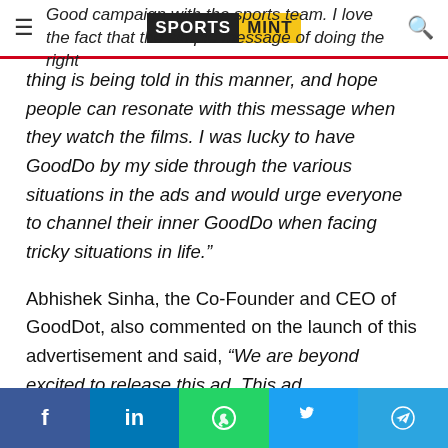Sports Mint
Good campaign with the sports team. I love the fact that the simple message of doing the right thing is being told in this manner, and hope people can resonate with this message when they watch the films. I was lucky to have GoodDo by my side through the various situations in the ads and would urge everyone to channel their inner GoodDo when facing tricky situations in life.”
Abhishek Sinha, the Co-Founder and CEO of GoodDot, also commented on the launch of this advertisement and said, “We are beyond excited to release this ad. This ad communicates the ethos of our brand GoodDot in a very clear and strong format. We were pleasantly surprised by the
f  in  WhatsApp  Twitter  Telegram